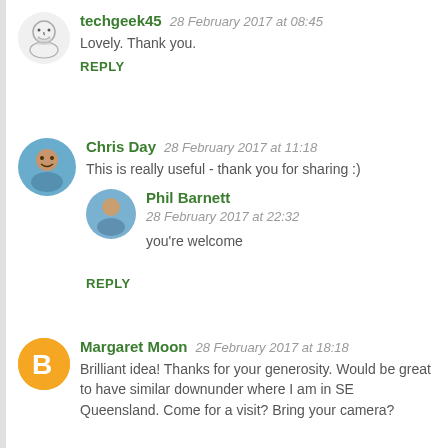techgeek45  28 February 2017 at 08:45
Lovely. Thank you.
REPLY
Chris Day  28 February 2017 at 11:18
This is really useful - thank you for sharing :)
Phil Barnett  28 February 2017 at 22:32
you're welcome
REPLY
Margaret Moon  28 February 2017 at 18:18
Brilliant idea! Thanks for your generosity. Would be great to have similar downunder where I am in SE Queensland. Come for a visit? Bring your camera?